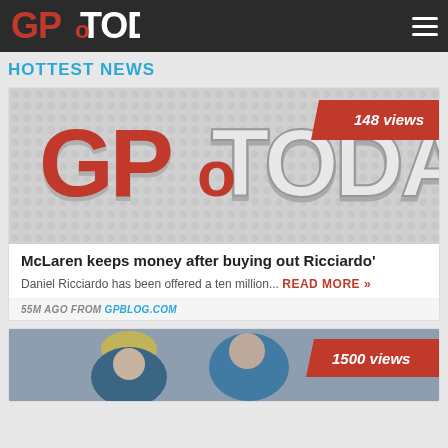GP TODAY
HOTTEST NEWS
[Figure (logo): GPToday logo on grey dotted background with '148 views' badge in top right]
McLaren keeps money after buying out Ricciardo'
Daniel Ricciardo has been offered a ten million...
READ MORE »
55M AGO FROM GPBLOG.COM
[Figure (photo): Two McLaren drivers, one wearing yellow cap, with '1500 views' badge]